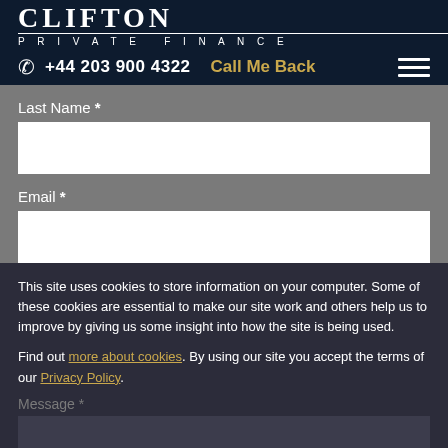CLIFTON PRIVATE FINANCE
+44 203 900 4322  Call Me Back
Last Name *
Email *
This site uses cookies to store information on your computer. Some of these cookies are essential to make our site work and others help us to improve by giving us some insight into how the site is being used.
Find out more about cookies. By using our site you accept the terms of our Privacy Policy.
Message *
I Agree